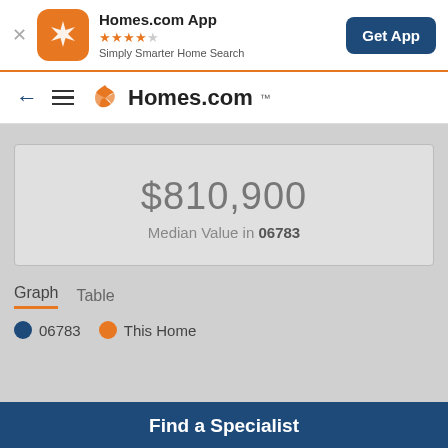[Figure (screenshot): Homes.com app banner with orange app icon, star rating, tagline, and Get App button]
[Figure (screenshot): Homes.com website navigation bar with back arrow, hamburger menu, and Homes.com logo]
$810,900
Median Value in 06783
Graph   Table
06783   This Home
Find a Specialist